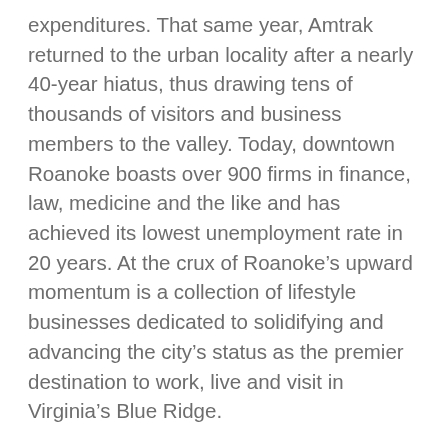expenditures. That same year, Amtrak returned to the urban locality after a nearly 40-year hiatus, thus drawing tens of thousands of visitors and business members to the valley. Today, downtown Roanoke boasts over 900 firms in finance, law, medicine and the like and has achieved its lowest unemployment rate in 20 years. At the crux of Roanoke’s upward momentum is a collection of lifestyle businesses dedicated to solidifying and advancing the city’s status as the premier destination to work, live and visit in Virginia’s Blue Ridge.
The influx of business to Roanoke was accelerated by the city’s residential growth in the early 2000s. Local developers breathed new life into historical buildings as they reimagined the empty spaces into luxurious and affordable residences. As a greater number of residents flocked to downtown from surrounding suburbs, the demand for better shops, eateries and recreation heightened. A crop of farm-to-table restaurants and